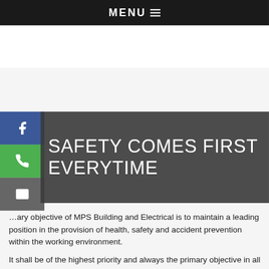MENU ☰
SAFETY COMES FIRST EVERYTIME
…ary objective of MPS Building and Electrical is to maintain a leading position in the provision of health, safety and accident prevention within the working environment.
It shall be of the highest priority and always the primary objective in all phases of operations and administration. Associated with this objective MPS Building and Electrical will always maintain effective standards that will guard against injuries and illnesses occurring on the job.
In support of this objective MPS Building and Electrical will ensure we